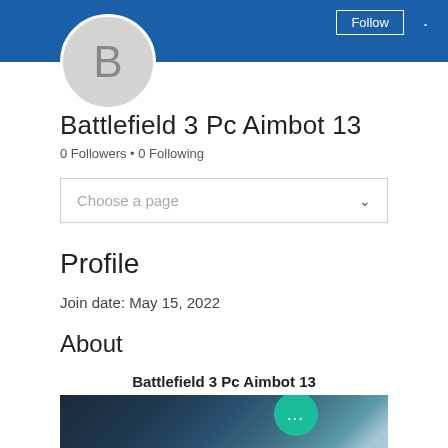[Figure (screenshot): Blue header banner with Follow button and avatar circle showing letter B]
Battlefield 3 Pc Aimbot 13
0 Followers • 0 Following
Choose a page
Profile
Join date: May 15, 2022
About
Battlefield 3 Pc Aimbot 13
[Figure (photo): Blurred dark teal/blue abstract image with a teal circular more options button (•••)]